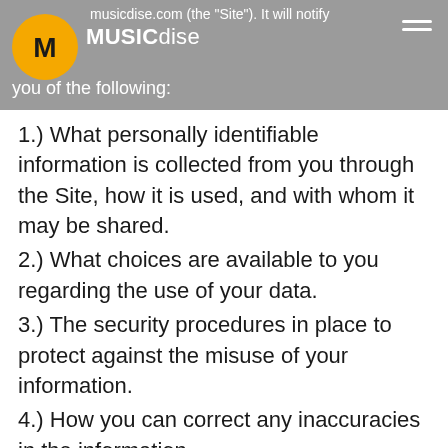musicdise.com (the "Site"). It will notify you of the following: MUSICdise
1.) What personally identifiable information is collected from you through the Site, how it is used, and with whom it may be shared.
2.) What choices are available to you regarding the use of your data.
3.) The security procedures in place to protect against the misuse of your information.
4.) How you can correct any inaccuracies in the information.